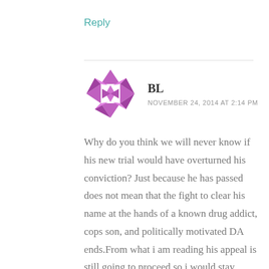Reply
[Figure (illustration): Purple geometric/mandala-style avatar icon for user BL]
BL
NOVEMBER 24, 2014 AT 2:14 PM
Why do you think we will never know if his new trial would have overturned his conviction? Just because he has passed does not mean that the fight to clear his name at the hands of a known drug addict, cops son, and politically motivated DA ends.From what i am reading his appeal is still going to proceed so i would stay tuned.